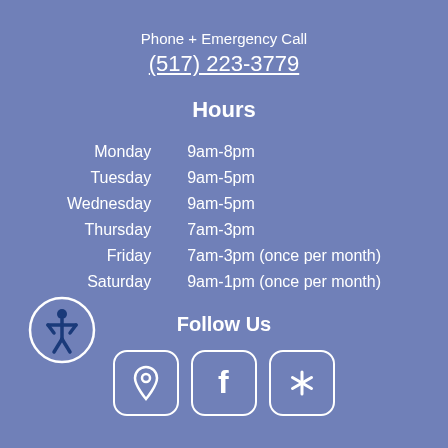Phone + Emergency Call
(517) 223-3779
Hours
| Day | Hours |
| --- | --- |
| Monday | 9am-8pm |
| Tuesday | 9am-5pm |
| Wednesday | 9am-5pm |
| Thursday | 7am-3pm |
| Friday | 7am-3pm (once per month) |
| Saturday | 9am-1pm (once per month) |
Follow Us
[Figure (infographic): Three icon buttons: location pin, Facebook f, and Yelp asterisk/star, each in a rounded square border]